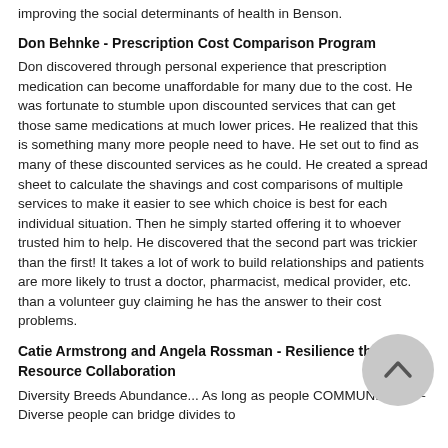improving the social determinants of health in Benson.
Don Behnke - Prescription Cost Comparison Program
Don discovered through personal experience that prescription medication can become unaffordable for many due to the cost.  He was fortunate to stumble upon discounted services that can get those same medications at much lower prices.  He realized that this is something many more people need to have.  He set out to find as many of these discounted services as he could.  He created a spread sheet to calculate the shavings and cost comparisons of multiple services to make it easier to see which choice is best for each individual situation.  Then he simply started offering it to whoever trusted him to help.  He discovered that the second part was trickier than the first!  It takes a lot of work to build relationships and patients are more likely to trust a doctor, pharmacist, medical provider, etc. than a volunteer guy claiming he has the answer to their cost problems.
Catie Armstrong and Angela Rossman - Resilience through Resource Collaboration
Diversity Breeds Abundance... As long as people COMMUNICATE – Diverse people can bridge divides to